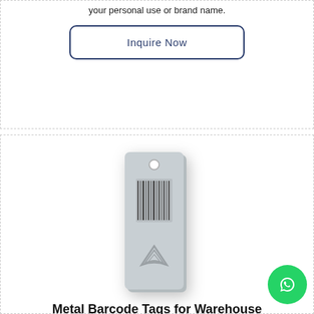your personal use or brand name.
Inquire Now
[Figure (photo): Metal barcode tag for warehouse, rectangular silver metal tag with a hole at the top, showing a barcode and a triangular logo embossed on it]
Metal Barcode Tags for Warehouse
Great way to organize and secure products without hurting your pockets. Durable and strong, great for long term
Inquire Now